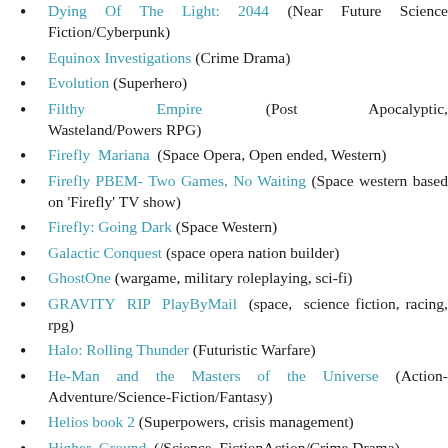Dying Of The Light: 2044 (Near Future Science Fiction/Cyberpunk)
Equinox Investigations (Crime Drama)
Evolution (Superhero)
Filthy Empire (Post Apocalyptic, Wasteland/Powers RPG)
Firefly Mariana (Space Opera, Open ended, Western)
Firefly PBEM- Two Games, No Waiting (Space western based on 'Firefly' TV show)
Firefly: Going Dark (Space Western)
Galactic Conquest (space opera nation builder)
GhostOne (wargame, military roleplaying, sci-fi)
GRAVITY RIP PlayByMail (space, science fiction, racing, rpg)
Halo: Rolling Thunder (Futuristic Warfare)
He-Man and the Masters of the Universe (Action-Adventure/Science-Fiction/Fantasy)
Helios book 2 (Superpowers, crisis management)
Higher Ground (/Science FictionAction/Crime Drama)